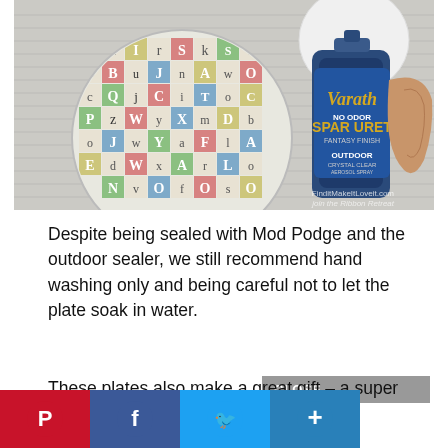[Figure (photo): A hand holding a can of Varathane No Odor Spar Urethane Outdoor spray, pointed at a round decorative plate covered in colorful letter tiles, laid on newspaper outdoors. Watermark reads FinditMakeItLoveit.com]
Despite being sealed with Mod Podge and the outdoor sealer, we still recommend hand washing only and being careful not to let the plate soak in water.
These plates also make a great gift – a super cute plate full of cookies or some other treat! They are even cute enough to use as